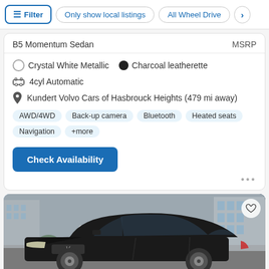Filter | Only show local listings | All Wheel Drive
B5 Momentum Sedan | MSRP
Crystal White Metallic • Charcoal leatherette
4cyl Automatic
Kundert Volvo Cars of Hasbrouck Heights (479 mi away)
AWD/4WD | Back-up camera | Bluetooth | Heated seats | Navigation | +more
Check Availability
[Figure (photo): Black Volvo sedan photographed from front three-quarter angle in a dealership parking lot with buildings in background]